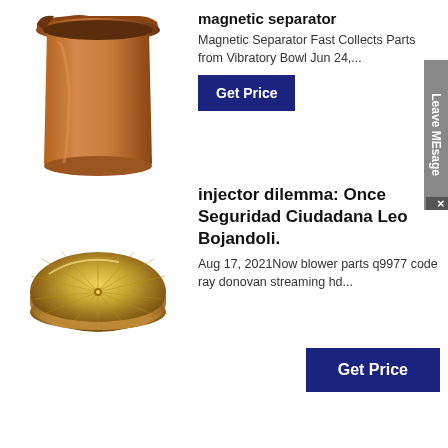[Figure (photo): Bronze/copper cylindrical cup-shaped part with a notch at the top rim]
magnetic separator
Magnetic Separator Fast Collects Parts from Vibratory Bowl Jun 24,...
[Figure (other): Blue 'Get Price' button with partial text visible, and 'Leave MEsage' vertical tab on the right]
[Figure (photo): Polished gold/brass disk-shaped flat circular part with radiating lines on surface]
injector dilemma: Once Seguridad Ciudadana Leo Bojandoli.
Aug 17, 2021Now blower parts q9977 code ray donovan streaming hd...
[Figure (other): Blue 'Get Price' button]